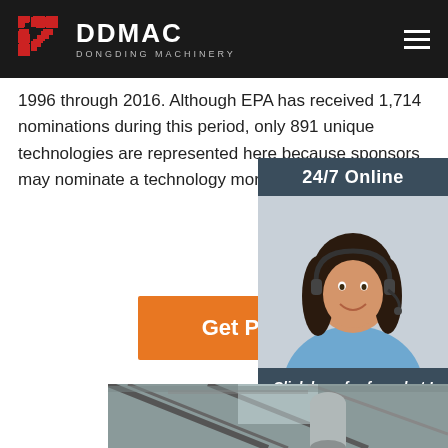[Figure (logo): DDMAC Dongding Machinery logo with red grid icon on dark header bar]
1996 through 2016. Although EPA has received 1,714 nominations during this period, only 891 unique technologies are represented here because sponsors may nominate a technology more than once.
[Figure (other): Orange 'Get Price' button]
[Figure (other): 24/7 Online chat widget with customer service representative photo, 'Click here for free chat!' text, and QUOTATION button]
[Figure (photo): Industrial factory interior photo showing steel structure ceiling and cylindrical silos/tanks]